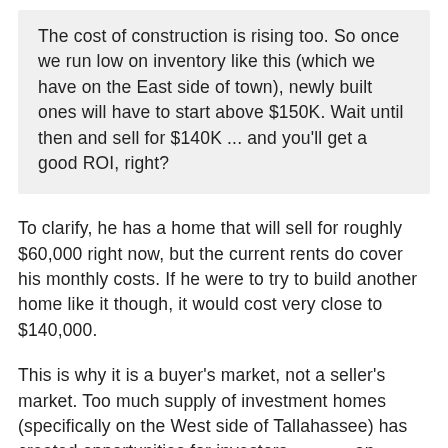The cost of construction is rising too. So once we run low on inventory like this (which we have on the East side of town), newly built ones will have to start above $150K. Wait until then and sell for $140K ... and you'll get a good ROI, right?
To clarify, he has a home that will sell for roughly $60,000 right now, but the current rents do cover his monthly costs. If he were to try to build another home like it though, it would cost very close to $140,000.
This is why it is a buyer's market, not a seller's market. Too much supply of investment homes (specifically on the West side of Tallahassee) has created opportunities for investors an purchase, hold, and then sell when the glut of priced properties is extinguished over the next five or so